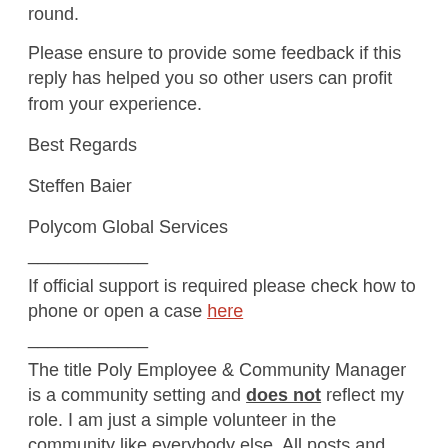round.
Please ensure to provide some feedback if this reply has helped you so other users can profit from your experience.
Best Regards
Steffen Baier
Polycom Global Services
___________
If official support is required please check how to phone or open a case here
___________
The title Poly Employee & Community Manager is a community setting and does not reflect my role. I am just a simple volunteer in the community like everybody else. All posts and